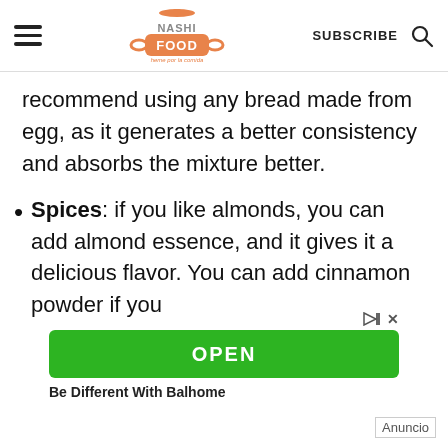NASHI FOOD — SUBSCRIBE
recommend using any bread made from egg, as it generates a better consistency and absorbs the mixture better.
Spices: if you like almonds, you can add almond essence, and it gives it a delicious flavor. You can add cinnamon powder if you
[Figure (other): Advertisement banner with green OPEN button and text 'Be Different With Balhome']
Anuncio